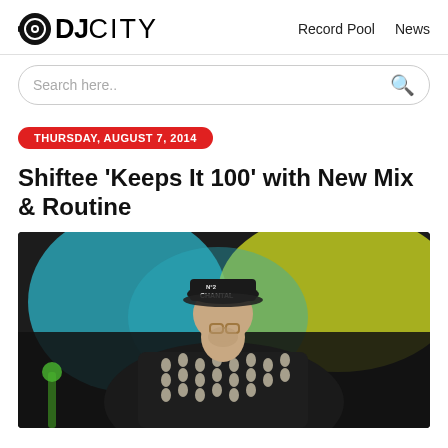DJCity | Record Pool | News
Search here..
THURSDAY, AUGUST 7, 2014
Shiftee 'Keeps It 100' with New Mix & Routine
[Figure (photo): A DJ wearing a black cap with CHANTAL text, glasses, and a patterned shirt looking down, performing at an event with colorful background lighting.]